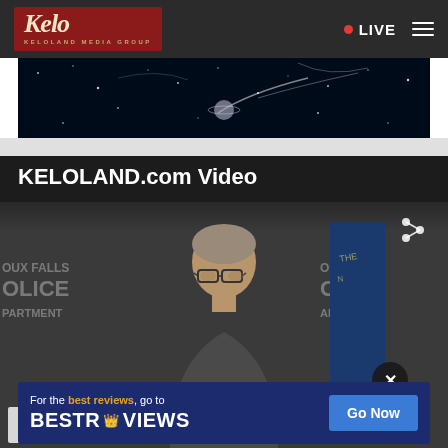KELOLAND Media Group — LIVE
[Figure (screenshot): Dark space/night sky image with stars and streaks of light, partial view]
KELOLAND.com Video
[Figure (screenshot): Video player showing a man at a Sioux Falls Police Department press conference podium, with a South Dakota flag in background. Share icon in upper right. Close (x) button overlay.]
[Figure (screenshot): Advertisement banner: 'For the best reviews, go to BESTREVIEWS' with a 'Go Now' button, on dark blue background]